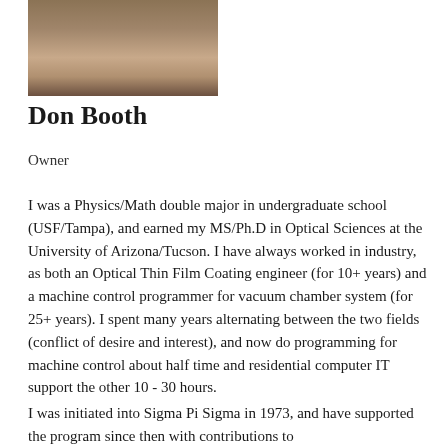[Figure (photo): Headshot photo of Don Booth, a man with a neutral expression against a dark background.]
Don Booth
Owner
I was a Physics/Math double major in undergraduate school (USF/Tampa), and earned my MS/Ph.D in Optical Sciences at the University of Arizona/Tucson. I have always worked in industry, as both an Optical Thin Film Coating engineer (for 10+ years) and a machine control programmer for vacuum chamber system (for 25+ years). I spent many years alternating between the two fields (conflict of desire and interest), and now do programming for machine control about half time and residential computer IT support the other 10 - 30 hours.
I was initiated into Sigma Pi Sigma in 1973, and have supported the program since then with contributions to